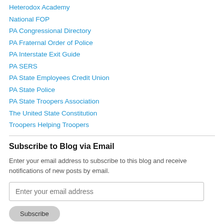Heterodox Academy
National FOP
PA Congressional Directory
PA Fraternal Order of Police
PA Interstate Exit Guide
PA SERS
PA State Employees Credit Union
PA State Police
PA State Troopers Association
The United State Constitution
Troopers Helping Troopers
Subscribe to Blog via Email
Enter your email address to subscribe to this blog and receive notifications of new posts by email.
Enter your email address